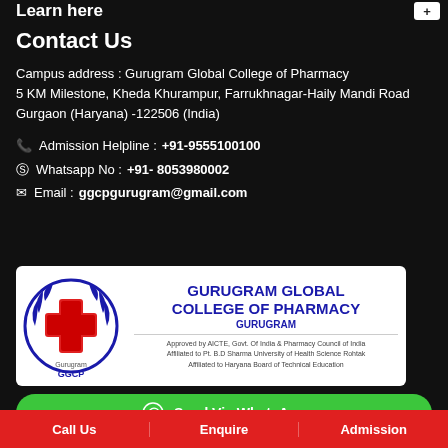Learn here
Contact Us
Campus address : Gurugram Global College of Pharmacy 5 KM Milestone, Kheda Khurampur, Farrukhnagar-Haily Mandi Road
Gurgaon (Haryana) -122506 (India)
Admission Helpline : +91-9555100100
Whatsapp No : +91- 8053980002
Email : ggcpgurugram@gmail.com
[Figure (logo): Gurugram Global College of Pharmacy logo with circular emblem featuring red cross and laurel wreath, GGCP text below, with college name in blue text on right side]
Send Via WhatsApp
Call Us   Enquire   Admission